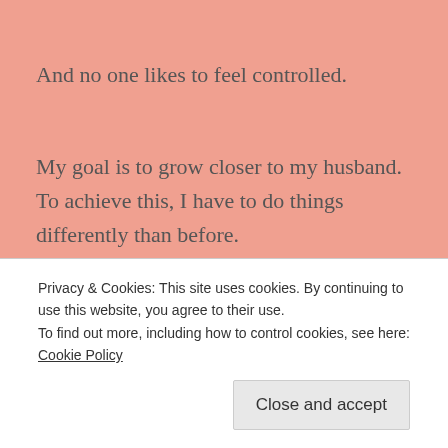And no one likes to feel controlled.
My goal is to grow closer to my husband. To achieve this, I have to do things differently than before.
So, I put on an attitude of gratitude and followed our phone conversation with an uplifting text message.
Privacy & Cookies: This site uses cookies. By continuing to use this website, you agree to their use.
To find out more, including how to control cookies, see here: Cookie Policy
Close and accept